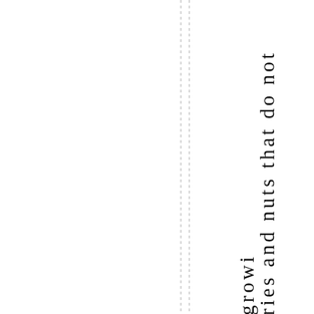[Figure (other): Two vertical dashed lines running the full height of the page, positioned roughly in the center-left area of the page]
ries and nuts that do not growi